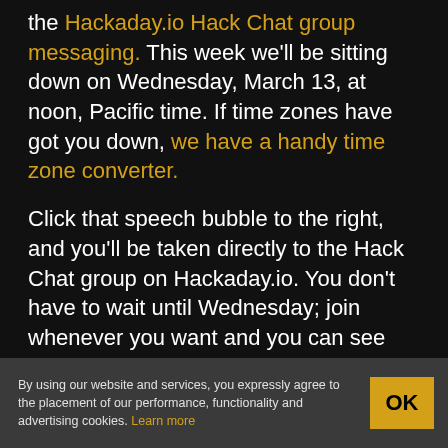the Hackaday.io Hack Chat group messaging. This week we'll be sitting down on Wednesday, March 13, at noon, Pacific time. If time zones have got you down, we have a handy time zone converter.
Click that speech bubble to the right, and you'll be taken directly to the Hack Chat group on Hackaday.io. You don't have to wait until Wednesday; join whenever you want and you can see what the community is talking about.
By using our website and services, you expressly agree to the placement of our performance, functionality and advertising cookies. Learn more